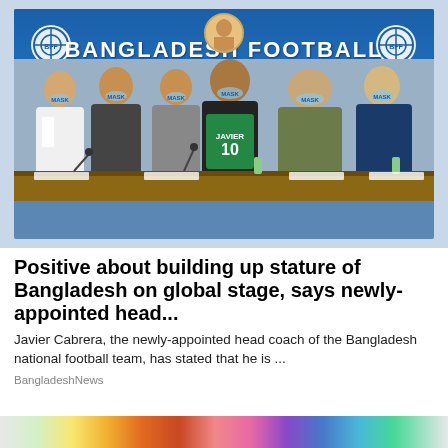[Figure (photo): Press conference photo showing six people wearing face masks standing in front of a Bangladesh Football Federation banner. The central person (Javier Cabrera) holds up a green jersey with 'JAVIER 10' on it. A table with microphones and name placards is in the foreground.]
Positive about building up stature of Bangladesh on global stage, says newly-appointed head...
Javier Cabrera, the newly-appointed head coach of the Bangladesh national football team, has stated that he is ...
BangladeshNews